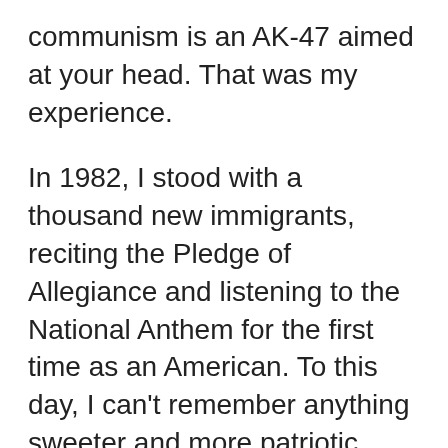communism is an AK-47 aimed at your head. That was my experience.
In 1982, I stood with a thousand new immigrants, reciting the Pledge of Allegiance and listening to the National Anthem for the first time as an American. To this day, I can't remember anything sweeter and more patriotic than that moment in my life.
Fast for a disc...